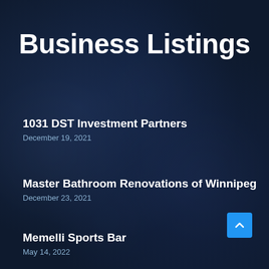Business Listings
1031 DST Investment Partners
December 19, 2021
Master Bathroom Renovations of Winnipeg
December 23, 2021
Memelli Sports Bar
May 14, 2022
Roman's Party Rentals